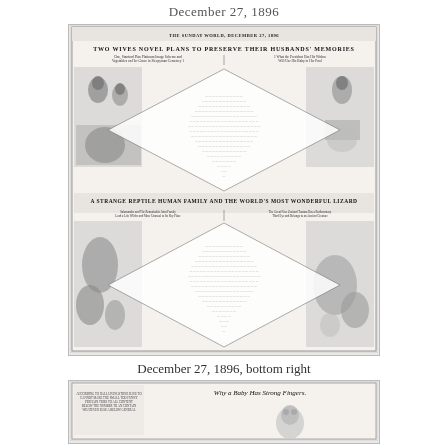December 27, 1896
[Figure (photo): Scanned newspaper page from December 27, 1896 showing two feature stories. Top story headline: 'TWO WIVES NOVEL PLANS TO PRESERVE THEIR HUSBANDS' MEMORIES' with diamond-shaped text layout and illustrations of women on both sides. Bottom story headline: 'A STRANGE REPTILE HUMAN FAMILY AND THE WORLD'S MOST WONDERFUL LIZARD' with another diamond-shaped text block and illustrations of reptile-like creatures.]
December 27, 1896, bottom right
[Figure (photo): Bottom portion of a newspaper page showing article titled 'Why a Baby Has Strong Fingers' with an illustration of a baby's face.]